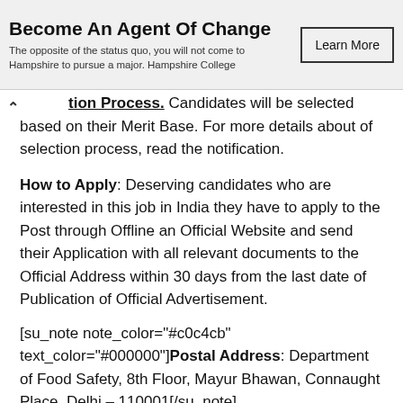[Figure (other): Advertisement banner: 'Become An Agent Of Change' with subtitle 'The opposite of the status quo, you will not come to Hampshire to pursue a major. Hampshire College' and a 'Learn More' button]
tion Process. Candidates will be selected based on their Merit Base. For more details about of selection process, read the notification.
How to Apply: Deserving candidates who are interested in this job in India they have to apply to the Post through Offline an Official Website and send their Application with all relevant documents to the Official Address within 30 days from the last date of Publication of Official Advertisement.
[su_note note_color="#c0c4cb" text_color="#000000"]Postal Address: Department of Food Safety, 8th Floor, Mayur Bhawan, Connaught Place, Delhi – 110001[/su_note]